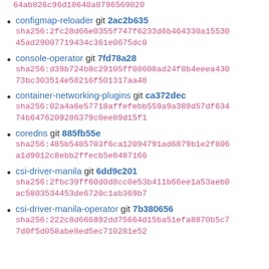64ab826c96d10640a0796569020
configmap-reloader git 2ac2b635
sha256:2fc28d66e0355f747f6233d6b464330a1553045ad29007719434c361e0675dc0
console-operator git 7fd78a28
sha256:d39b724b8c29105ff08608ad24f8b4eeea43073bc303514e58216f501317aa48
container-networking-plugins git ca372dec
sha256:02a4a6e57718affefebb559a9a389d57df63474b6476209286379c0ee89d15f1
coredns git 885fb55e
sha256:485b5485703f6ca12094791ad6879b1e2f806a1d9012c8ebb2ffecb5e8487166
csi-driver-manila git 6dd9c201
sha256:2fbc39ff60d0d8cc0e53b411b66ee1a53aeb0ac5803534453de6720c1ab369b7
csi-driver-manila-operator git 7b380656
sha256:222c8d666892dd75664d15ba51efa8870b5c77d0f5d058abe8ed5ec710281e52